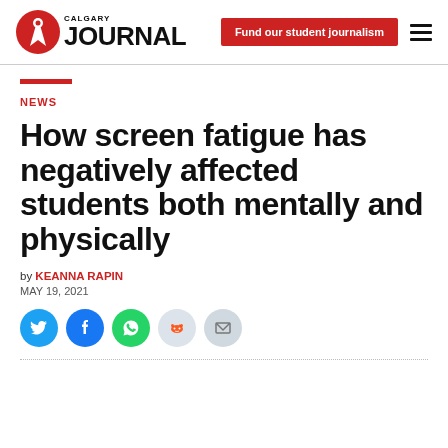Calgary Journal — Fund our student journalism
NEWS
How screen fatigue has negatively affected students both mentally and physically
by KEANNA RAPIN
MAY 19, 2021